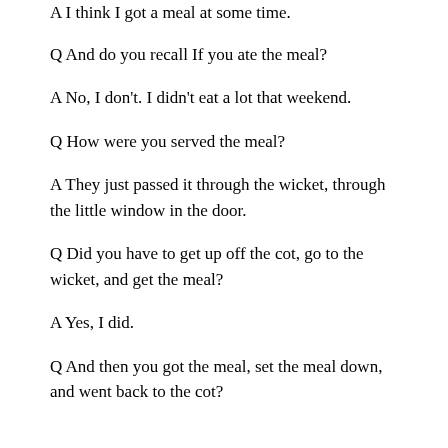A I think I got a meal at some time.
Q And do you recall If you ate the meal?
A No, I don't. I didn't eat a lot that weekend.
Q How were you served the meal?
A They just passed it through the wicket, through the little window in the door.
Q Did you have to get up off the cot, go to the wicket, and get the meal?
A Yes, I did.
Q And then you got the meal, set the meal down, and went back to the cot?